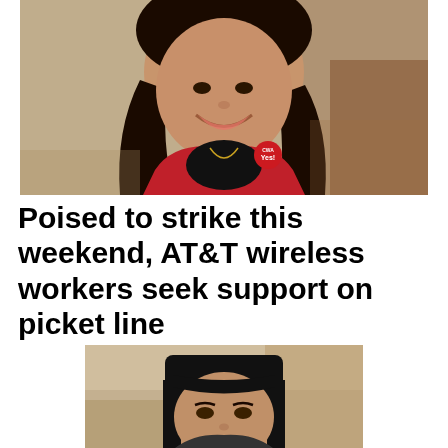[Figure (photo): A smiling woman with long dark hair wearing a red jacket and a round red button that reads 'Yes!', seated indoors with a carpeted floor visible in the background.]
Poised to strike this weekend, AT&T wireless workers seek support on picket line
[Figure (photo): A woman with dark hair and bangs looking at the camera, seated indoors with a carpeted floor and tan wall visible in the background.]